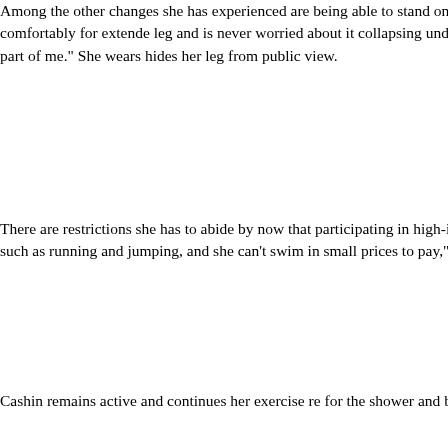Among the other changes she has experienced are being able to stand on both feet, and to be able to sit comfortably for extended periods. "I trust my leg and is never worried about it collapsing underneath me. I don't hide my leg as it just feels like it is a part of me." She wears fashions that hides her leg from public view.
There are restrictions she has to abide by now that she is older, such as participating in high-impact activities that would place stress on the joint, such as running and jumping, and she can't swim in a pool. "These are small prices to pay," she says.
Cashin remains active and continues her exercise regime, has a prosthetic for the shower and beach, and is working closely with her surgeon since her surgery," she says. "They just play a slightly different role now and mainly only make adjustments to the knee and foot. The guys handle all the maintenance issues."
She is also working with her physiotherapist from inpatient rehabilitation and [to] fine tune a few things to ensure I am walking correctly.
Since the surgeries, Cashin has undergone other changes in her life. She returned to school to pursue a physiotherapy degree at McMaster university. "I'm excited to be able to make a difference in someone's life the way it did mine," she says.
Laura Fonda Hochnadel can be reached at laura@c…